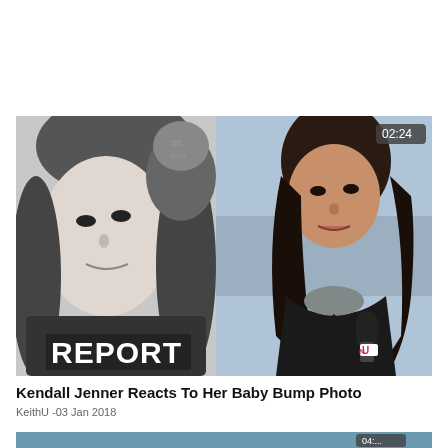[Figure (screenshot): Video thumbnail showing a split image: left side is a black-and-white photo of Kylie Jenner with text 'REPORT' overlaid, right side shows a woman with dark curly hair speaking into a microphone with a logo. A video duration badge '02:24' is in the upper right corner.]
Kendall Jenner Reacts To Her Baby Bump Photo
KeithU -03 Jan 2018
[Figure (screenshot): Partially visible video thumbnail at the bottom of the page, showing a person, with a duration badge partially visible.]